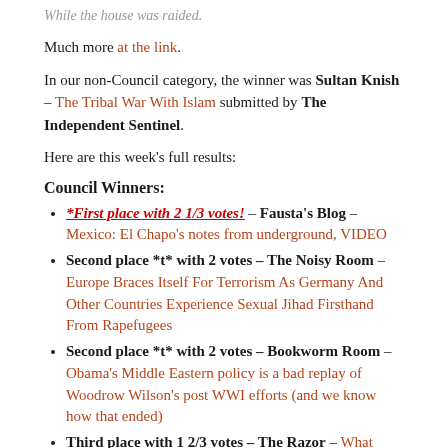While the house was raided.
Much more at the link.
In our non-Council category, the winner was Sultan Knish – The Tribal War With Islam submitted by The Independent Sentinel.
Here are this week's full results:
Council Winners:
*First place with 2 1/3 votes! – Fausta's Blog – Mexico: El Chapo's notes from underground, VIDEO
Second place *t* with 2 votes – The Noisy Room – Europe Braces Itself For Terrorism As Germany And Other Countries Experience Sexual Jihad Firsthand From Rapefugees
Second place *t* with 2 votes – Bookworm Room – Obama's Middle Eastern policy is a bad replay of Woodrow Wilson's post WWI efforts (and we know how that ended)
Third place with 1 2/3 votes – The Razor – What Amazon Prime's Transparent Teaches About Feminism
Fourth place with 1 vote – The Right Planet – Breaking Red: The Truth about Dalton Trumbo and the Hollywood